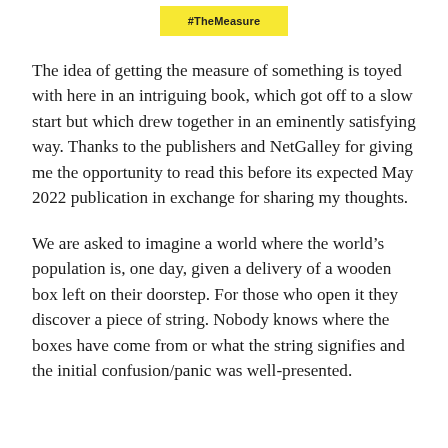#TheMeasure
The idea of getting the measure of something is toyed with here in an intriguing book, which got off to a slow start but which drew together in an eminently satisfying way. Thanks to the publishers and NetGalley for giving me the opportunity to read this before its expected May 2022 publication in exchange for sharing my thoughts.
We are asked to imagine a world where the world’s population is, one day, given a delivery of a wooden box left on their doorstep. For those who open it they discover a piece of string. Nobody knows where the boxes have come from or what the string signifies and the initial confusion/panic was well-presented.